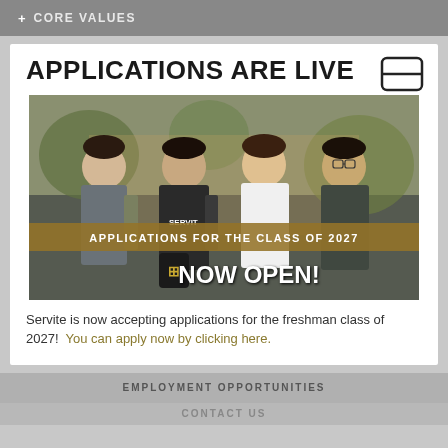+ CORE VALUES
APPLICATIONS ARE LIVE
[Figure (photo): Four male students in school uniforms smiling outdoors, with overlaid text banners reading 'APPLICATIONS FOR THE CLASS OF 2027' and 'NOW OPEN!' with a school crest logo]
Servite is now accepting applications for the freshman class of 2027!  You can apply now by clicking here.
EMPLOYMENT OPPORTUNITIES
CONTACT US